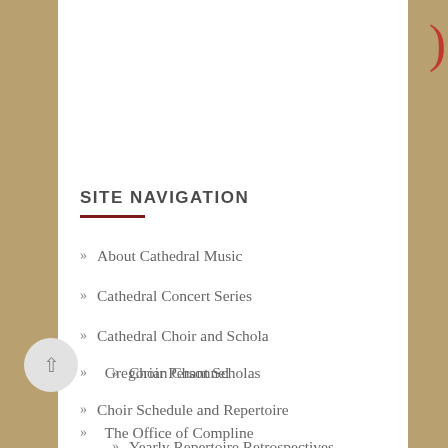SITE NAVIGATION
About Cathedral Music
Cathedral Concert Series
Cathedral Choir and Schola
Choir Personnel
Choir Schedule and Repertoire
Yearly Repertoire Retrospectives
Gregorian Chant Scholas
The Office of Compline